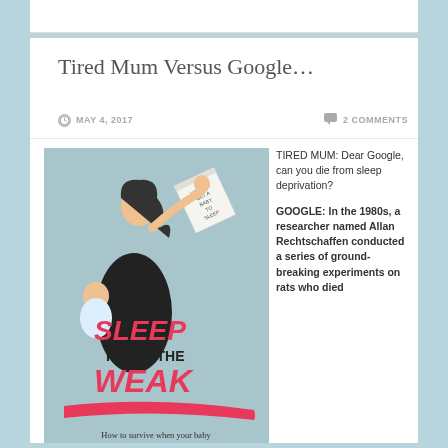Tired Mum Versus Google…
MAY 4, 2017    2 COMMENTS
[Figure (illustration): Book cover for 'Sleep is for the Weak' by Emily-Jane Clark showing a woman holding a baby and throwing a book titled 'How to Get a Baby to Sleep'. Subtitle: How to survive when your baby won't go the fzzk to sleep. Website: www.emiinasleep.com]
TIRED MUM: Dear Google, can you die from sleep deprivation?

GOOGLE: In the 1980s, a researcher named Allan Rechtschaffen conducted a series of ground-breaking experiments on rats who died